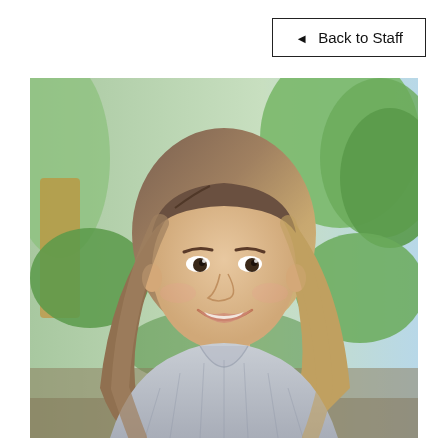◀ Back to Staff
[Figure (photo): Portrait photo of a young woman with long wavy blonde-brown hair, smiling, wearing a light grey ribbed v-neck sweater, standing outdoors with green trees and foliage in the background.]